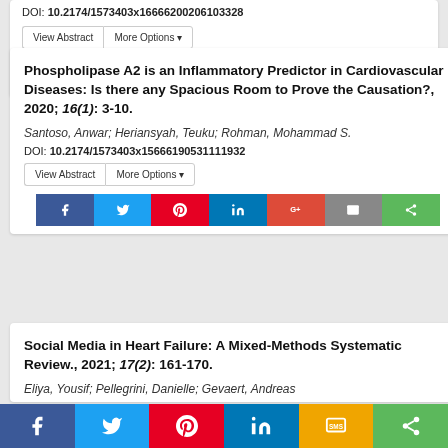DOI: 10.2174/1573403x16666200206103328
View Abstract | More Options
[Figure (other): Social share buttons row: Facebook, Twitter, Pinterest, LinkedIn, Google+, Email, Share]
Phospholipase A2 is an Inflammatory Predictor in Cardiovascular Diseases: Is there any Spacious Room to Prove the Causation?, 2020; 16(1): 3-10.
Santoso, Anwar; Heriansyah, Teuku; Rohman, Mohammad S.
DOI: 10.2174/1573403x15666190531111932
View Abstract | More Options
[Figure (other): Social share buttons row: Facebook, Twitter, Pinterest, LinkedIn, Google+, Email, Share]
Social Media in Heart Failure: A Mixed-Methods Systematic Review., 2021; 17(2): 161-170.
Eliya, Yousif; Pellegrini, Danielle; Gevaert, Andreas
Social share bar: Facebook, Twitter, Pinterest, LinkedIn, SMS, Share